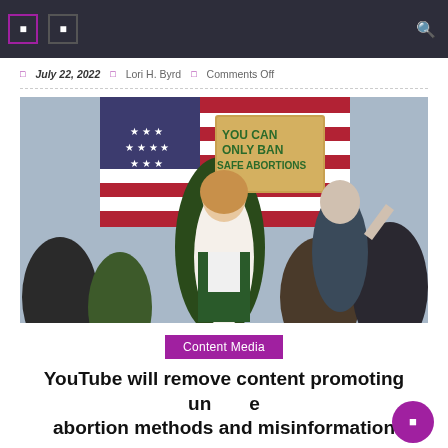Navigation bar with icons
July 22, 2022   Lori H. Byrd   Comments Off
[Figure (photo): Protest crowd with American flag in background; person in foreground holds cardboard sign reading YOU CAN ONLY BAN SAFE ABORTIONS]
Content Media
YouTube will remove content promoting unsafe abortion methods and misinformation